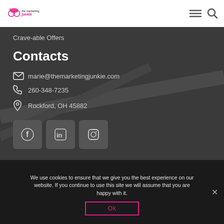The Marketing Junkie
Crave-able Offers
Contacts
marie@themarketingjunkie.com
260-348-7235
Rockford, OH 45882
[Figure (illustration): Social media icons: Facebook, LinkedIn, Instagram]
We use cookies to ensure that we give you the best experience on our website. If you continue to use this site we will assume that you are happy with it.
Ok